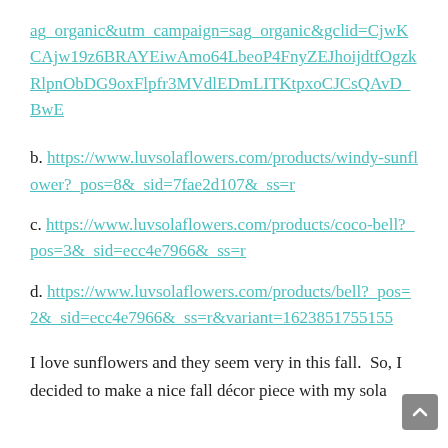ag_organic&utm_campaign=sag_organic&gclid=CjwKCAjw19z6BRAYEiwAmo64LbeoP4FnyZEJhoijdtfOgzkRlpnObDG9oxFlpfr3MVdlEDmLITKtpxoCJCsQAvD_BwE
b. https://www.luvsolaflowers.com/products/windy-sunflower?_pos=8&_sid=7fae2d107&_ss=r
c. https://www.luvsolaflowers.com/products/coco-bell?_pos=3&_sid=ecc4e7966&_ss=r
d. https://www.luvsolaflowers.com/products/bell?_pos=2&_sid=ecc4e7966&_ss=r&variant=16238517551155
I love sunflowers and they seem very in this fall.  So, I decided to make a nice fall décor piece with my sola